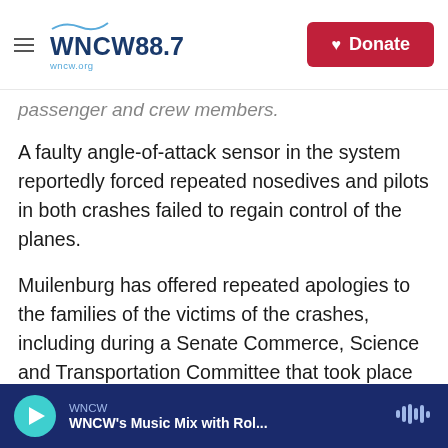WNCW 88.7 — wncw.org | Donate
passenger and crew members.
A faulty angle-of-attack sensor in the system reportedly forced repeated nosedives and pilots in both crashes failed to regain control of the planes.
Muilenburg has offered repeated apologies to the families of the victims of the crashes, including during a Senate Commerce, Science and Transportation Committee that took place on the anniversary of the Lion Air tragedy.
Seated not far behind Muilenburg at the hearing were people holding large photographs of those
WNCW — WNCW's Music Mix with Rol...